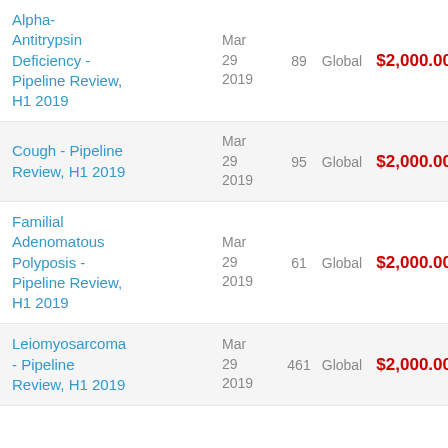| Product Name | Date | Pages | Geography | Price | Action |
| --- | --- | --- | --- | --- | --- |
| Alpha-Antitrypsin Deficiency - Pipeline Review, H1 2019 | Mar 29 2019 | 89 | Global | $2,000.00 | Ad |
| Cough - Pipeline Review, H1 2019 | Mar 29 2019 | 95 | Global | $2,000.00 | Ad |
| Familial Adenomatous Polyposis - Pipeline Review, H1 2019 | Mar 29 2019 | 61 | Global | $2,000.00 | Ad |
| Leiomyosarcoma - Pipeline Review, H1 2019 | Mar 29 2019 | 461 | Global | $2,000.00 | Ad |